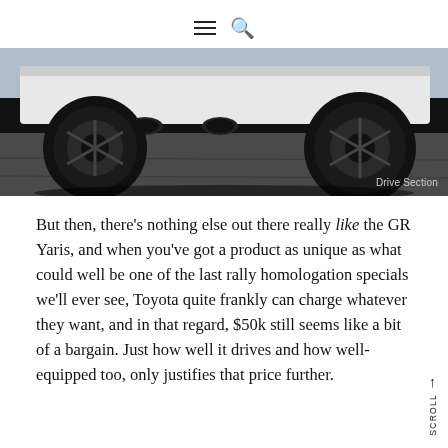≡ 🔍
[Figure (photo): Low-angle rear view of a white Toyota GR Yaris on tarmac, showing twin exhausts and black alloy wheels. Watermark reads 'Drive Section'.]
But then, there's nothing else out there really like the GR Yaris, and when you've got a product as unique as what could well be one of the last rally homologation specials we'll ever see, Toyota quite frankly can charge whatever they want, and in that regard, $50k still seems like a bit of a bargain. Just how well it drives and how well-equipped too, only justifies that price further.